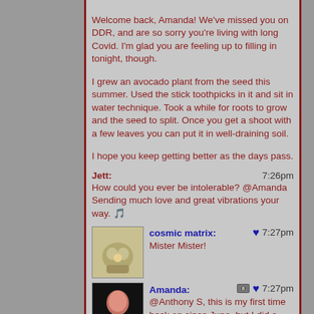Welcome back, Amanda! We've missed you on DDR, and are so sorry you're living with long Covid. I'm glad you are feeling up to filling in tonight, though.
I grew an avocado plant from the seed this summer. Used the stick toothpicks in it and sit in water technique. Took a while for roots to grow and the seed to split. Once you get a shoot with a few leaves you can put it in well-draining soil.
I hope you keep getting better as the days pass.
Jett: 7:26pm
How could you ever be intolerable? @Amanda Sending much love and great vibrations your way. 🎵
cosmic matrix: ♥ 7:27pm
Mister Mister!
Amanda: 🔲 ♥ 7:27pm
@Anthony S, this is my first time back on since June, but I did a guest set on Sheila B.'s show on New Year's. :-)